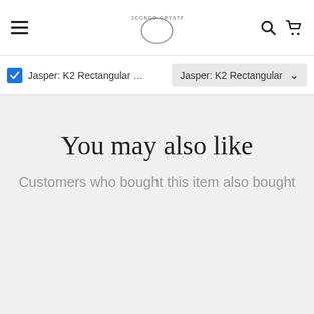Otocongo Crystals — navigation bar with hamburger menu, logo, search and cart icons
Jasper: K2 Rectangular … Jasper: K2 Rectangular
You may also like
Customers who bought this item also bought